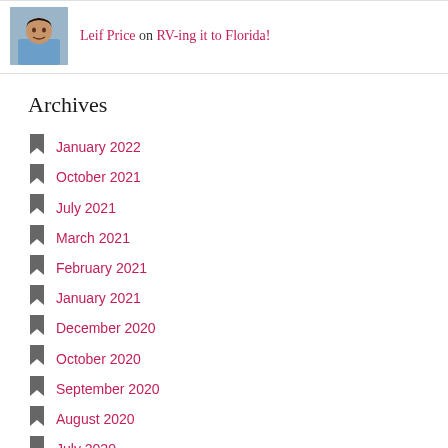Leif Price on RV-ing it to Florida!
Archives
January 2022
October 2021
July 2021
March 2021
February 2021
January 2021
December 2020
October 2020
September 2020
August 2020
July 2020
June 2020